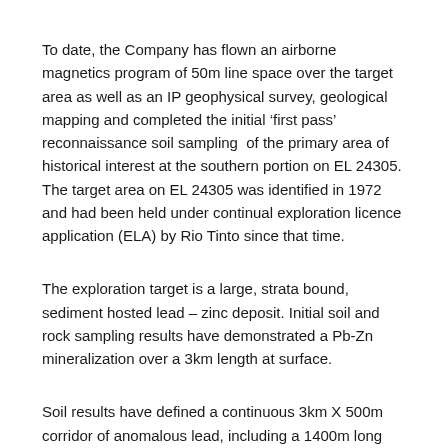To date, the Company has flown an airborne magnetics program of 50m line space over the target area as well as an IP geophysical survey, geological mapping and completed the initial ‘first pass’ reconnaissance soil sampling  of the primary area of historical interest at the southern portion on EL 24305. The target area on EL 24305 was identified in 1972 and had been held under continual exploration licence application (ELA) by Rio Tinto since that time.
The exploration target is a large, strata bound, sediment hosted lead – zinc deposit. Initial soil and rock sampling results have demonstrated a Pb-Zn mineralization over a 3km length at surface.
Soil results have defined a continuous 3km X 500m corridor of anomalous lead, including a 1400m long contour of plus 500ppm Pb with a maximum of 2800ppm. Rock chips have confirmed the